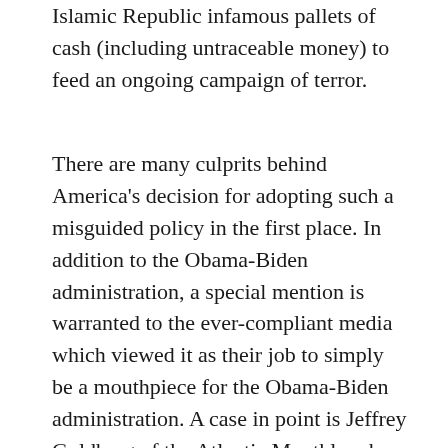Islamic Republic infamous pallets of cash (including untraceable money) to feed an ongoing campaign of terror.
There are many culprits behind America's decision for adopting such a misguided policy in the first place. In addition to the Obama-Biden administration, a special mention is warranted to the ever-compliant media which viewed it as their job to simply be a mouthpiece for the Obama-Biden administration. A case in point is Jeffrey Goldberg of the Atlantic Monthly who proudly decided to be part of an echo-chamber for the administration. Obama's national security team members, including Ben Rhodes and other administration officials, relied on services of Jeffrey Goldberg and other